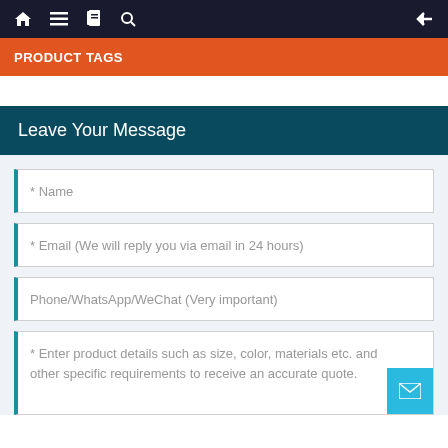Navigation bar with home, menu, book, search icons and back arrow
PRODUCT TAGS
Leave Your Message
* Name
* Email (We will reply you via email in 24 hours)
Phone/WhatsApp/WeChat (Very important)
* Enter product details such as size, color, materials etc. and other specific requirements to receive an accurate quote.